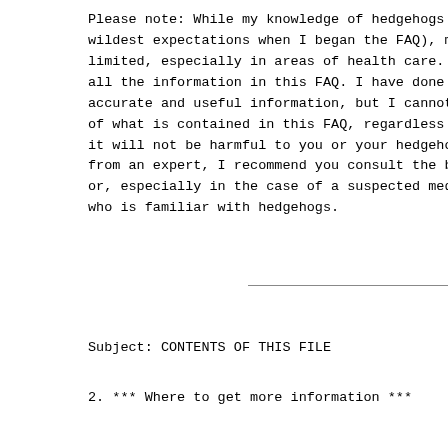Please note:  While my knowledge of hedgehogs h wildest expectations when I began the FAQ), my limited, especially in areas of health care.  I all the information in this FAQ.  I have done m accurate and useful information, but I cannot g of what is contained in this FAQ, regardless of it will not be harmful to you or your hedgehog from an expert, I recommend you consult the boo or, especially in the case of a suspected medic who is familiar with hedgehogs.
Subject: CONTENTS OF THIS FILE
2. *** Where to get more information ***